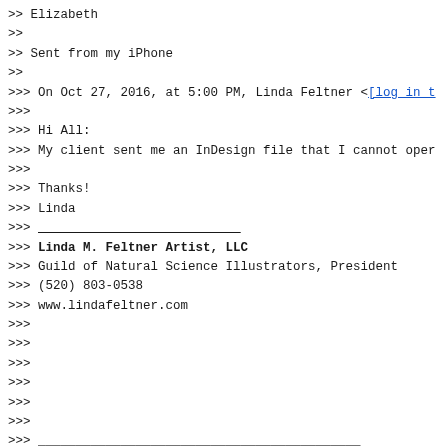>> Elizabeth
>>
>> Sent from my iPhone
>>
>>> On Oct 27, 2016, at 5:00 PM, Linda Feltner <[log in t
>>>
>>> Hi All:
>>> My client sent me an InDesign file that I cannot oper
>>>
>>> Thanks!
>>> Linda
>>> ___________________________
>>> Linda M. Feltner Artist, LLC
>>> Guild of Natural Science Illustrators, President
>>> (520) 803-0538
>>> www.lindafeltner.com
>>>
>>>
>>>
>>>
>>>
>>>
>>> ___________________________________________
>>>
>>> Need to leave or subscribe to the Sciart-L listserv?
>>> http://www.gnsi.org/resources/reviews/gnsi-sciart-l-l
>>>
>>
>>
>> ___________________________________________
>>